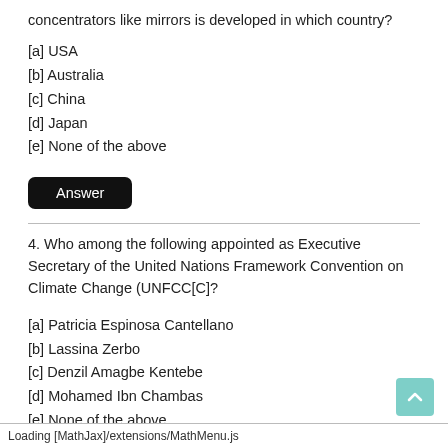concentrators like mirrors is developed in which country?
[a] USA
[b] Australia
[c] China
[d] Japan
[e] None of the above
Answer
4. Who among the following appointed as Executive Secretary of the United Nations Framework Convention on Climate Change (UNFCC[C]?
[a] Patricia Espinosa Cantellano
[b] Lassina Zerbo
[c] Denzil Amagbe Kentebe
[d] Mohamed Ibn Chambas
[e] None of the above
Answer
Loading [MathJax]/extensions/MathMenu.js